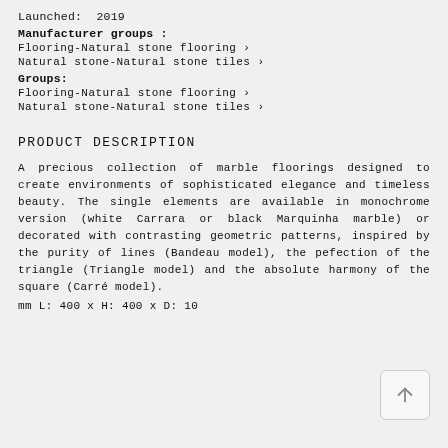Launched:  2019
Manufacturer groups :
Flooring-Natural stone flooring ›
Natural stone-Natural stone tiles ›
Groups:
Flooring-Natural stone flooring ›
Natural stone-Natural stone tiles ›
PRODUCT DESCRIPTION
A precious collection of marble floorings designed to create environments of sophisticated elegance and timeless beauty. The single elements are available in monochrome version (white Carrara or black Marquinha marble) or decorated with contrasting geometric patterns, inspired by the purity of lines (Bandeau model), the pefection of the triangle (Triangle model) and the absolute harmony of the square (Carré model).
mm L: 400 x H: 400 x D: 10